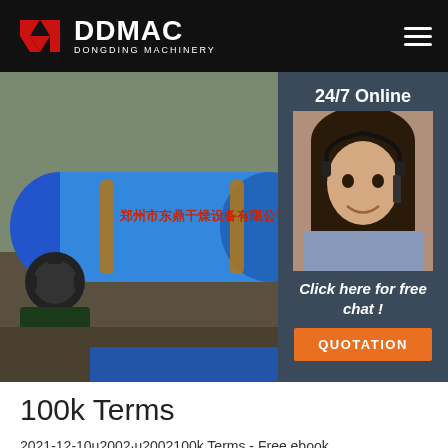[Figure (logo): DDMAC Dongding Machinery logo with red geometric icon and white text on black header bar]
[Figure (photo): Industrial photo of a large blue rotary drum/cylinder machine with Chinese text on it, outdoors at a construction/industrial site. On the right side there is an inset panel showing a customer service agent wearing a headset, with '24/7 Online' text, 'Click here for free chat!' text, and an orange QUOTATION button.]
100k Terms
2021-12-10u2002·u2002100k Terms - Free ebook download as Text File (.txt), PDF File (.pdf) or read